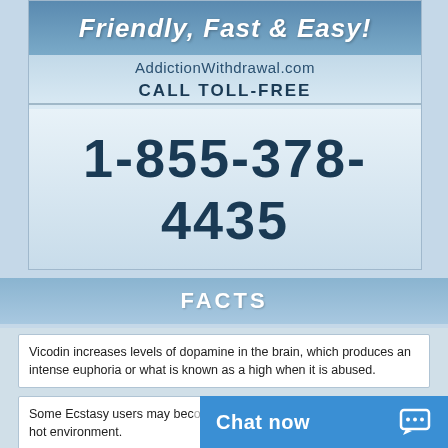[Figure (infographic): Advertisement banner for AddictionWithdrawal.com showing 'Friendly, Fast & Easy!' text, website URL, call toll-free instruction, and phone number 1-855-378-4435 on a blue gradient background]
FACTS
Vicodin increases levels of dopamine in the brain, which produces an intense euphoria or what is known as a high when it is abused.
Some Ecstasy users may bec... hot environment.
Chat now